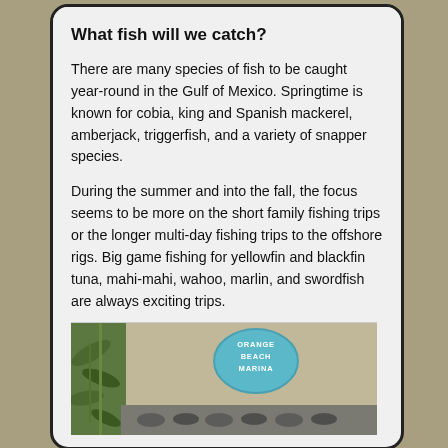What fish will we catch?
There are many species of fish to be caught year-round in the Gulf of Mexico. Springtime is known for cobia, king and Spanish mackerel, amberjack, triggerfish, and a variety of snapper species.
During the summer and into the fall, the focus seems to be more on the short family fishing trips or the longer multi-day fishing trips to the offshore rigs. Big game fishing for yellowfin and blackfin tuna, mahi-mahi, wahoo, marlin, and swordfish are always exciting trips.
[Figure (photo): Photo showing Orange Beach Marina sign on a teal oval, with green leaves/plants visible on the left and fish hanging below the sign on a beige/tan background]